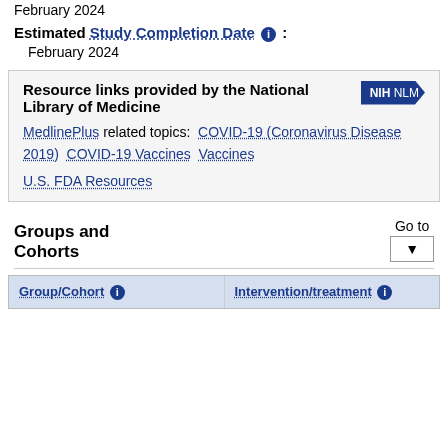February 2024
Estimated Study Completion Date : February 2024
Resource links provided by the National Library of Medicine
MedlinePlus related topics: COVID-19 (Coronavirus Disease 2019)  COVID-19 Vaccines  Vaccines
U.S. FDA Resources
Groups and Cohorts
Go to
| Group/Cohort | Intervention/treatment |
| --- | --- |